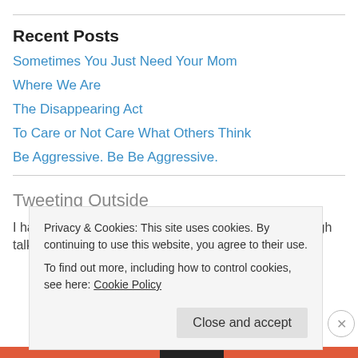Recent Posts
Sometimes You Just Need Your Mom
Where We Are
The Disappearing Act
To Care or Not Care What Others Think
Be Aggressive. Be Be Aggressive.
Tweeting Outside
I hate that my Mom has MS. But maybe we heal through talking? I am
Privacy & Cookies: This site uses cookies. By continuing to use this website, you agree to their use.
To find out more, including how to control cookies, see here: Cookie Policy
Close and accept